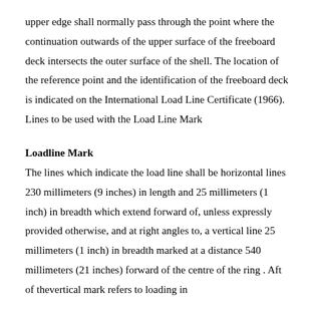upper edge shall normally pass through the point where the continuation outwards of the upper surface of the freeboard deck intersects the outer surface of the shell. The location of the reference point and the identification of the freeboard deck is indicated on the International Load Line Certificate (1966). Lines to be used with the Load Line Mark
Loadline Mark
The lines which indicate the load line shall be horizontal lines 230 millimeters (9 inches) in length and 25 millimeters (1 inch) in breadth which extend forward of, unless expressly provided otherwise, and at right angles to, a vertical line 25 millimeters (1 inch) in breadth marked at a distance 540 millimeters (21 inches) forward of the centre of the ring . Aft of thevertical mark refers to loading in